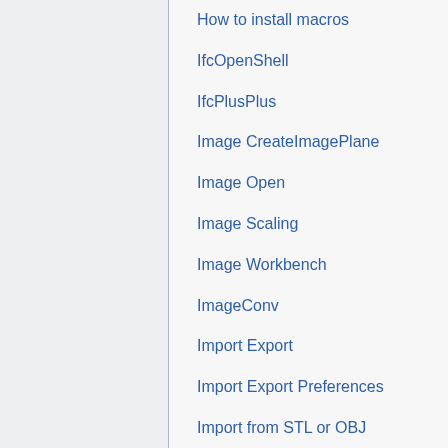How to install macros
IfcOpenShell
IfcPlusPlus
Image CreateImagePlane
Image Open
Image Scaling
Image Workbench
ImageConv
Import Export
Import Export Preferences
Import from STL or OBJ